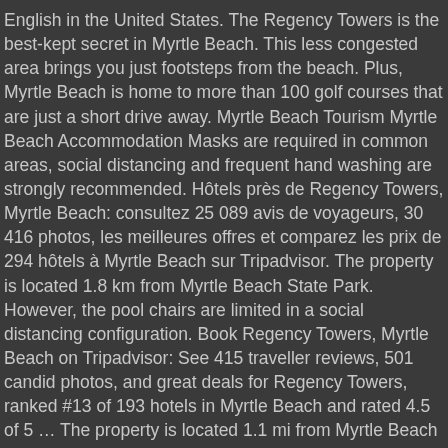English in the United States. The Regency Towers is the best-kept secret in Myrtle Beach. This less congested area brings you just footsteps from the beach. Plus, Myrtle Beach is home to more than 100 golf courses that are just a short drive away. Myrtle Beach Tourism Myrtle Beach Accommodation Masks are required in common areas, social distancing and frequent hand washing are strongly recommended. Hôtels près de Regency Towers, Myrtle Beach: consultez 25 089 avis de voyageurs, 30 416 photos, les meilleures offres et comparez les prix de 294 hôtels à Myrtle Beach sur Tripadvisor. The property is located 1.8 km from Myrtle Beach State Park. However, the pool chairs are limited in a social distancing configuration. Book Regency Towers, Myrtle Beach on Tripadvisor: See 415 traveller reviews, 501 candid photos, and great deals for Regency Towers, ranked #13 of 193 hotels in Myrtle Beach and rated 4.5 of 5 … The property is located 1.1 mi from Myrtle Beach State Park. Un dels nostres preferits a Myrtle Beach Regency Towers is nestled on the shores of Myrtle Beach. Design